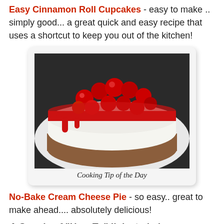Easy Cinnamon Roll Cupcakes - easy to make .. simply good... a great quick and easy recipe that uses a shortcut to keep you out of the kitchen!
[Figure (photo): A slice of no-bake cream cheese pie topped with cherry pie filling on a white plate, with text 'Cooking Tip of the Day' at the bottom of the image.]
No-Bake Cream Cheese Pie - so easy.. great to make ahead.... absolutely delicious!
A Couple of "How To" links to help you..